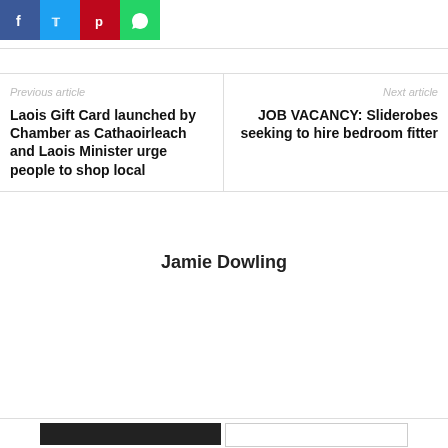[Figure (infographic): Social sharing buttons: Facebook (blue), Twitter (light blue), Pinterest (red), WhatsApp (green)]
Previous article
Laois Gift Card launched by Chamber as Cathaoirleach and Laois Minister urge people to shop local
Next article
JOB VACANCY: Sliderobes seeking to hire bedroom fitter
Jamie Dowling